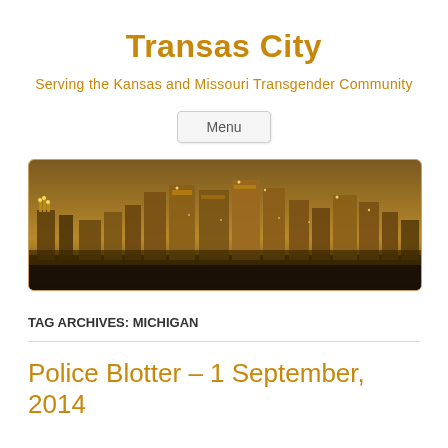Transas City
Serving the Kansas and Missouri Transgender Community
Menu
[Figure (photo): Sepia-toned panoramic photo of a city skyline at night, showing tall buildings with lights, in a warm golden-brown tone. Likely Kansas City skyline.]
TAG ARCHIVES: MICHIGAN
Police Blotter – 1 September, 2014